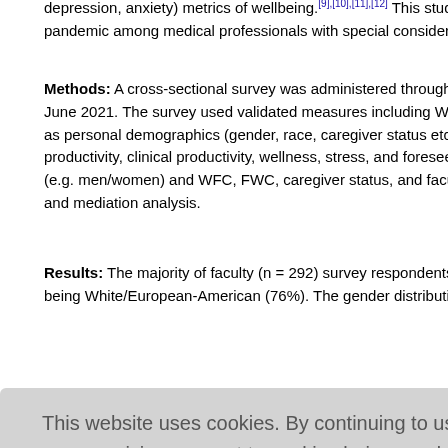depression, anxiety) metrics of wellbeing.[9],[10],[11],[12] This study aims to understand the impact of the pandemic among medical professionals with special consideration for gender-differences.
Methods: A cross-sectional survey was administered through email to University faculty in April-June 2021. The survey used validated measures including Work-Family/Family-Work Conflict (WFC/FWC) as well as personal demographics (gender, race, caregiver status etc.), academic demographics, research productivity, clinical productivity, wellness, stress, and foreseeable benefits of challenges. Binary gender (e.g. men/women) and WFC, FWC, caregiver status, and faculty rank were examined using regression and mediation analysis.
Results: The majority of faculty (n = 292) survey respondents were from the Medical School with most being White/European-American (76%). The gender distribution of survey respondents was similar to actual faculty distribution. Statistical analysis showed... 1 vs. 3.24, ... faculty rank was significant with P<0.0001 and P... gender and... difference:...
...between work... evidence... nals.